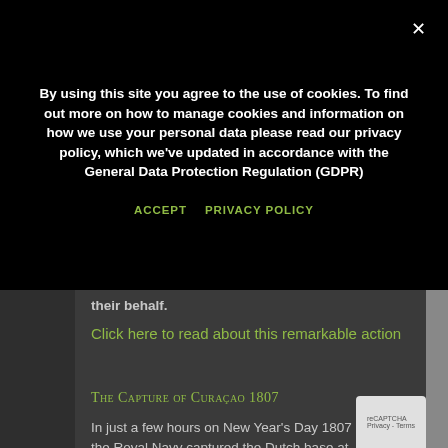By using this site you agree to the use of cookies. To find out more on how to manage cookies and information on how we use your personal data please read our privacy policy, which we've updated in accordance with the General Data Protection Regulation (GDPR)
ACCEPT   PRIVACY POLICY
their behalf.
Click here to read about this remarkable action
The Capture of Curaçao 1807
In just a few hours on New Year's Day 1807 the Royal Navy captured the Dutch base at